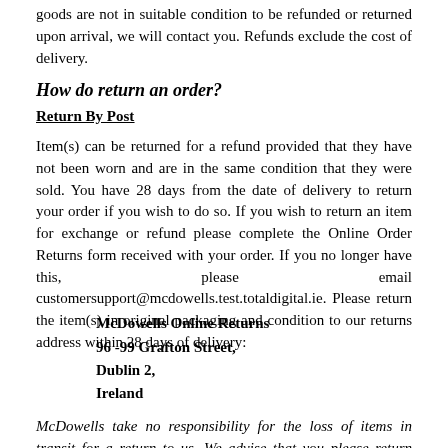goods are not in suitable condition to be refunded or returned upon arrival, we will contact you. Refunds exclude the cost of delivery.
How do return an order?
Return By Post
Item(s) can be returned for a refund provided that they have not been worn and are in the same condition that they were sold. You have 28 days from the date of delivery to return your order if you wish to do so. If you wish to return an item for exchange or refund please complete the Online Order Returns form received with your order. If you no longer have this, please email customersupport@mcdowells.test.totaldigital.ie. Please return the item(s) in original packaging and condition to our returns address within 28 days of delivery:
McDowells Online Returns
96 -99 Grafton Street,
Dublin 2,
Ireland
McDowells take no responsibility for the loss of items in transit for a return to us. We advise that you please return your item(s) by registered or other insured and tracked postal service, and retain a proof of postage